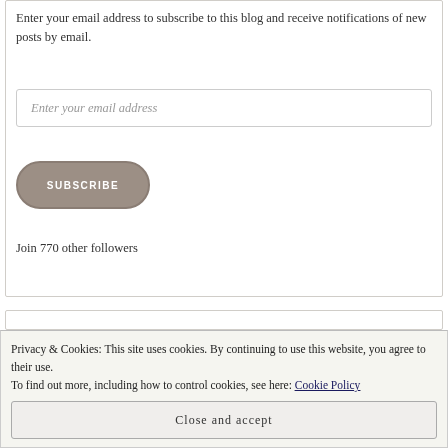Enter your email address to subscribe to this blog and receive notifications of new posts by email.
Enter your email address
SUBSCRIBE
Join 770 other followers
Privacy & Cookies: This site uses cookies. By continuing to use this website, you agree to their use.
To find out more, including how to control cookies, see here: Cookie Policy
Close and accept